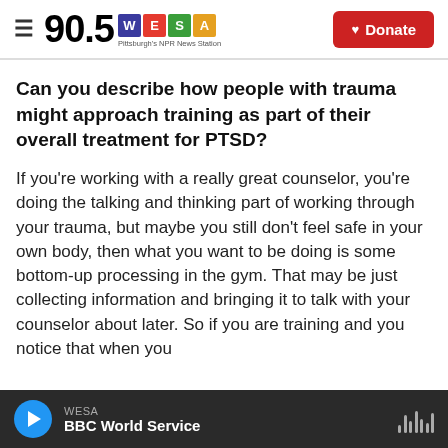90.5 WESA – Pittsburgh's NPR News Station | Donate
Can you describe how people with trauma might approach training as part of their overall treatment for PTSD?
If you're working with a really great counselor, you're doing the talking and thinking part of working through your trauma, but maybe you still don't feel safe in your own body, then what you want to be doing is some bottom-up processing in the gym. That may be just collecting information and bringing it to talk with your counselor about later. So if you are training and you notice that when you
WESA | BBC World Service